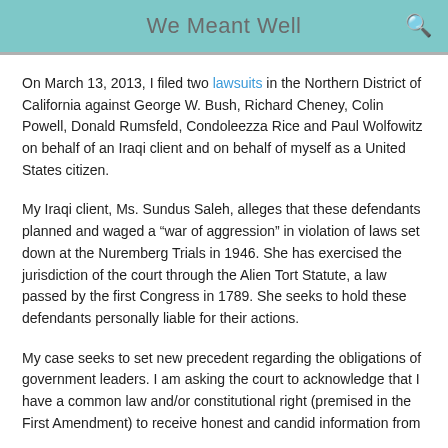We Meant Well
On March 13, 2013, I filed two lawsuits in the Northern District of California against George W. Bush, Richard Cheney, Colin Powell, Donald Rumsfeld, Condoleezza Rice and Paul Wolfowitz on behalf of an Iraqi client and on behalf of myself as a United States citizen.
My Iraqi client, Ms. Sundus Saleh, alleges that these defendants planned and waged a “war of aggression” in violation of laws set down at the Nuremberg Trials in 1946. She has exercised the jurisdiction of the court through the Alien Tort Statute, a law passed by the first Congress in 1789. She seeks to hold these defendants personally liable for their actions.
My case seeks to set new precedent regarding the obligations of government leaders. I am asking the court to acknowledge that I have a common law and/or constitutional right (premised in the First Amendment) to receive honest and candid information from